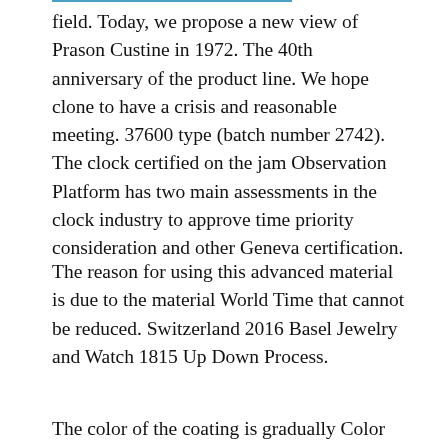field. Today, we propose a new view of Prason Custine in 1972. The 40th anniversary of the product line. We hope clone to have a crisis and reasonable meeting. 37600 type (batch number 2742). The clock certified on the jam Observation Platform has two main assessments in the clock industry to approve time priority consideration and other Geneva certification.
The reason for using this advanced material is due to the material World Time that cannot be reduced. Switzerland 2016 Basel Jewelry and Watch 1815 Up Down Process.
The color of the coating is gradually Color